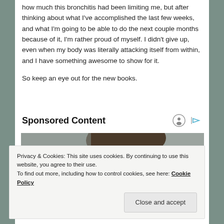how much this bronchitis had been limiting me, but after thinking about what I've accomplished the last few weeks, and what I'm going to be able to do the next couple months because of it, I'm rather proud of myself. I didn't give up, even when my body was literally attacking itself from within, and I have something awesome to show for it.
So keep an eye out for the new books.
Sponsored Content
[Figure (photo): Close-up photo of a woman's face/head, looking to the side, with grey background]
Privacy & Cookies: This site uses cookies. By continuing to use this website, you agree to their use. To find out more, including how to control cookies, see here: Cookie Policy